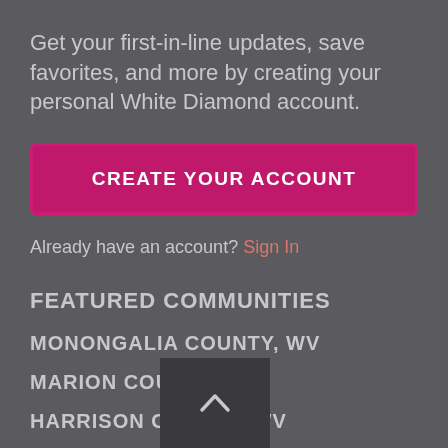Get your first-in-line updates, save favorites, and more by creating your personal White Diamond account.
CREATE YOUR ACCOUNT
Already have an account? Sign In
FEATURED COMMUNITIES
MONONGALIA COUNTY, WV
MARION COUNTY, WV
HARRISON COUNTY, WV
PRESTON COUNTY, WV